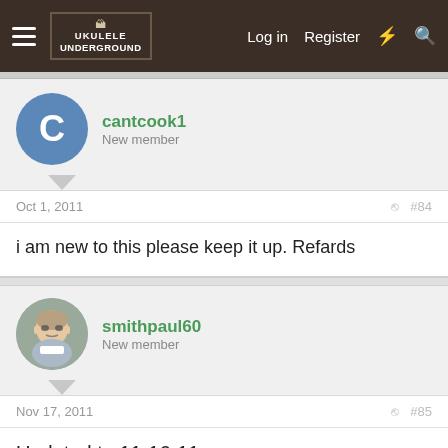Ukulele Underground — Log in | Register
cantcook1
New member
Oct 1, 2011  #84
i am new to this please keep it up. Refards
smithpaul60
New member
Nov 17, 2011  #85
Updated to 11-16-11
smithpaul60
New member